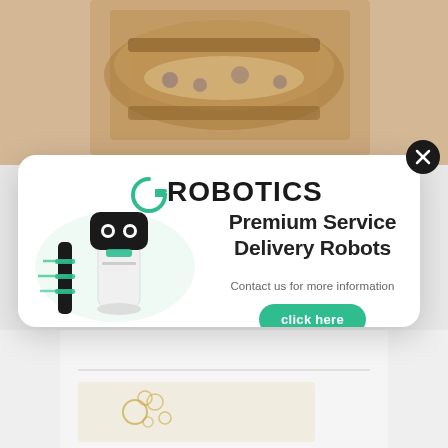[Figure (photo): Food photo background showing a grilled sandwich/toast at the top of the page]
[Figure (illustration): G-Robotics advertisement popup card with logo, delivery robot image, headline text 'Premium Service Delivery Robots', contact text, and click here button]
G ROBOTICS
Premium Service Delivery Robots
Contact us for more information
click here
[Figure (photo): Bottom partial view of a webpage with a horizontal divider line and a decorative golden swirl element on a light background]